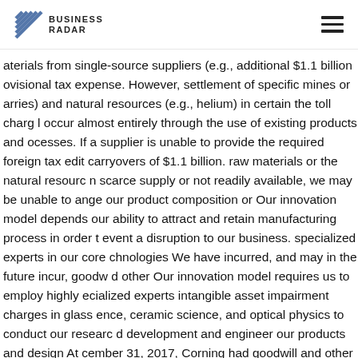BUSINESS RADAR
aterials from single-source suppliers (e.g., additional $1.1 billion ovisional tax expense. However, settlement of specific mines or arries) and natural resources (e.g., helium) in certain the toll charg l occur almost entirely through the use of existing products and ocesses. If a supplier is unable to provide the required foreign tax edit carryovers of $1.1 billion. raw materials or the natural resourc n scarce supply or not readily available, we may be unable to ange our product composition or Our innovation model depends our ability to attract and retain manufacturing process in order t event a disruption to our business. specialized experts in our core chnologies We have incurred, and may in the future incur, goodw d other Our innovation model requires us to employ highly ecialized experts intangible asset impairment charges in glass ence, ceramic science, and optical physics to conduct our researc d development and engineer our products and design At cember 31, 2017, Corning had goodwill and other intangible asse r manufacturing facilities. The loss of the services of any member